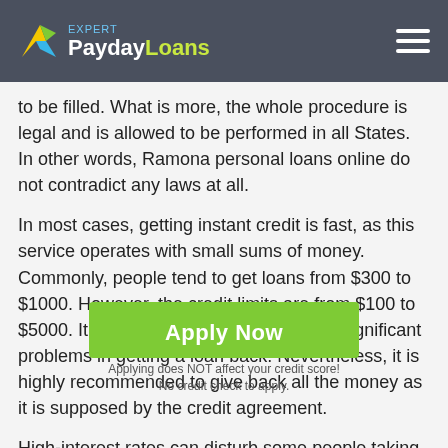PaydayLoans Expert
to be filled. What is more, the whole procedure is legal and is allowed to be performed in all States. In other words, Ramona personal loans online do not contradict any laws at all.
In most cases, getting instant credit is fast, as this service operates with small sums of money. Commonly, people tend to get loans from $300 to $1000. However, the credit limits are from $100 to $5000. It is not the sums that can cause significant problems in getting a loan back. Nevertheless, it is highly recommended to give back all the money as it is supposed by the credit agreement.
High-interest rates can disturb some people taking personal credits when they need money. In some cases, such qualities can be... However, mind that this
[Figure (other): Green 'Apply Now' call-to-action button with subtext 'Applying does NOT affect your credit score!' and 'No credit check to apply.']